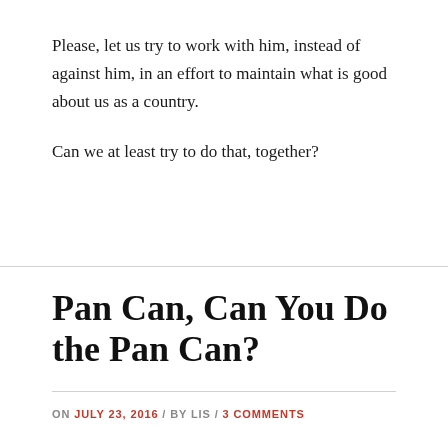Please, let us try to work with him, instead of against him, in an effort to maintain what is good about us as a country.
Can we at least try to do that, together?
Pan Can, Can You Do the Pan Can?
ON JULY 23, 2016 / BY LIS / 3 COMMENTS